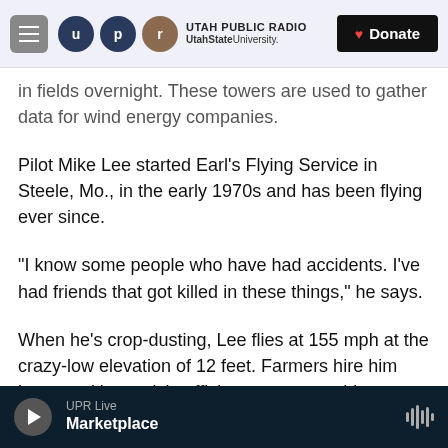UTAH PUBLIC RADIO | UtahState University | Donate
in fields overnight. These towers are used to gather data for wind energy companies.
Pilot Mike Lee started Earl's Flying Service in Steele, Mo., in the early 1970s and has been flying ever since.
"I know some people who have had accidents. I've had friends that got killed in these things," he says.
When he's crop-dusting, Lee flies at 155 mph at the crazy-low elevation of 12 feet. Farmers hire him because it's a quick, efficient way to get things done. There's no driving out to remote fields or
UPR Live | Marketplace